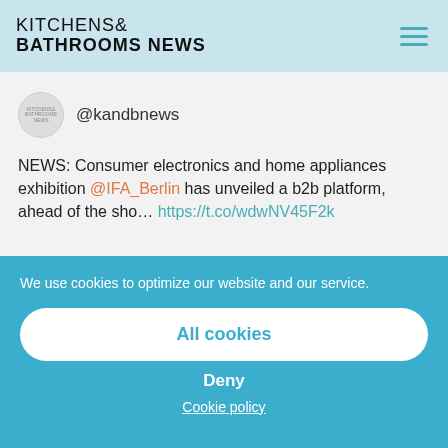KITCHENS & BATHROOMS NEWS
[Figure (screenshot): Tweet from @kandbnews: NEWS: Consumer electronics and home appliances exhibition @IFA_Berlin has unveiled a b2b platform, ahead of the sho... https://t.co/wdwNV45F2k]
We use cookies to optimize our website and our service.
All cookies
Deny
Cookie policy